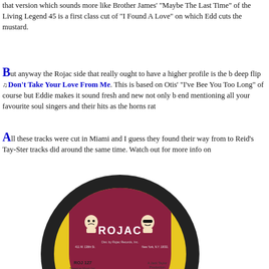that version which sounds more like Brother James' "Maybe The Last Time" of the Living Legend 45 is a first class cut of "I Found A Love" on which Eddie cuts the mustard.
But anyway the Rojac side that really ought to have a higher profile is the b deep flip Don't Take Your Love From Me. This is based on Otis' "I've Been Loving You Too Long" of course but Eddie makes it sound fresh and new not only b end mentioning all your favourite soul singers and their hits as the horns rate
All these tracks were cut in Miami and I guess they found their way from to Reid's Tay-Ster tracks did around the same time. Watch out for more info on
[Figure (photo): A yellow and maroon Rojac Records 45 rpm vinyl record label. The record is ROJ 127, titled 'BEEN SO LONG' by THIRD GUITAR, produced by Jack Taylor. The Rojac logo shows two cartoon characters peeking over a wall.]